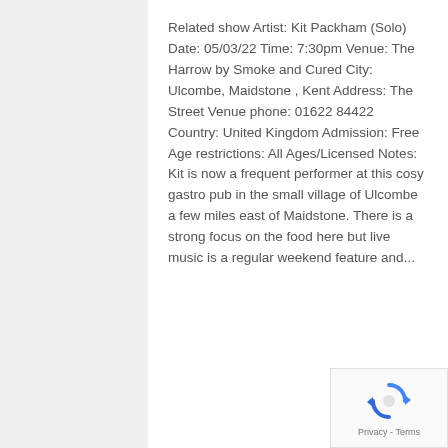Related show Artist: Kit Packham (Solo) Date: 05/03/22 Time: 7:30pm Venue: The Harrow by Smoke and Cured City: Ulcombe, Maidstone , Kent Address: The Street Venue phone: 01622 84422 Country: United Kingdom Admission: Free Age restrictions: All Ages/Licensed Notes: Kit is now a frequent performer at this cosy gastro pub in the small village of Ulcombe a few miles east of Maidstone. There is a strong focus on the food here but live music is a regular weekend feature and...
READ MORE »